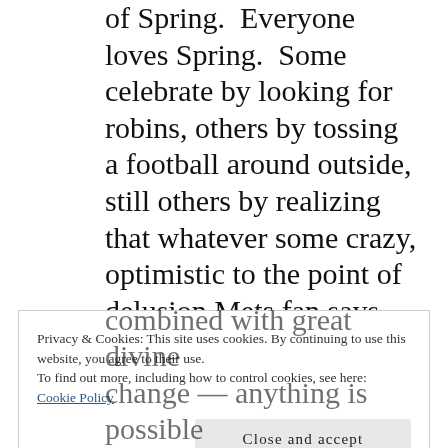of Spring.  Everyone loves Spring.  Some celebrate by looking for robins, others by tossing a football around outside, still others by realizing that whatever some crazy, optimistic to the point of delusion Mets fan says, February first is not the start of spring, and that winter will, in all likelihood, make one or two more unpleasant comebacks before retiring for good.
Privacy & Cookies: This site uses cookies. By continuing to use this website, you agree to their use.
To find out more, including how to control cookies, see here: Cookie Policy
Close and accept
combined with great divine change — anything is possible